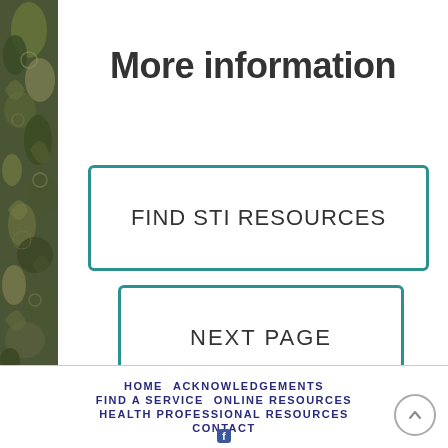[Figure (illustration): Decorative paisley pattern in dark olive/green tones forming a vertical left border bar]
More information
FIND STI RESOURCES
NEXT PAGE
HOME   ACKNOWLEDGEMENTS   FIND A SERVICE   ONLINE RESOURCES   HEALTH PROFESSIONAL RESOURCES   CONTACT